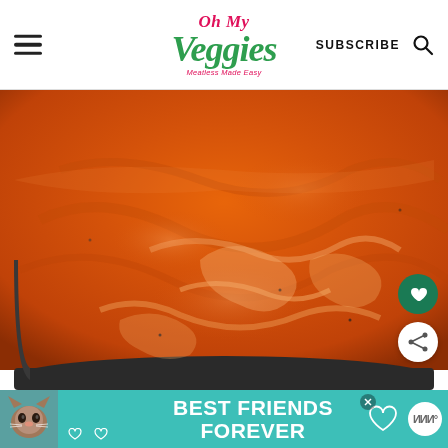Oh My Veggies — Meatless Made Easy | SUBSCRIBE
[Figure (photo): Close-up overhead photo of a rich orange-red tomato cream sauce simmering in a dark/black pan, smooth and glossy with swirls and a creamy texture.]
[Figure (infographic): Advertisement banner with teal background showing a cat photo and text reading BEST FRIENDS FOREVER with heart decorations.]